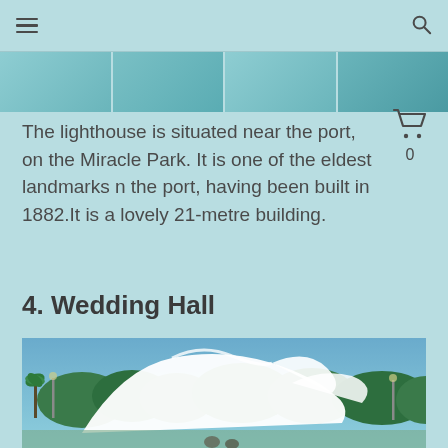navigation header with hamburger menu and search icon
[Figure (photo): Navigation image strip showing teal/cyan colored landmark photos]
The lighthouse is situated near the port, on the Miracle Park. It is one of the eldest landmarks near the port, having been built in 1882.It is a lovely 21-metre building.
4. Wedding Hall
[Figure (photo): Photo of the Wedding Hall building with white curved architectural roof structure against a blue sky, with trees in the background and people visible at the bottom]